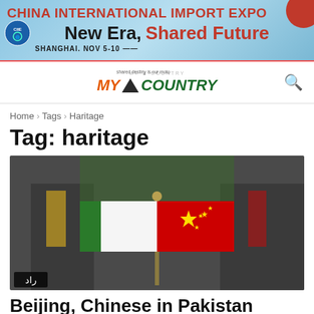[Figure (other): China International Import Expo banner ad. Blue background. Text: CHINA INTERNATIONAL IMPORT EXPO, New Era, Shared Future, SHANGHAI, NOV 5-10. Red circle top right.]
[Figure (logo): MY COUNTRY website logo with triangle icon and tagline 'shared destiny is our moto'. Search icon on right.]
Home › Tags › Haritage
Tag: haritage
[Figure (photo): Photo of Pakistani and Chinese flags crossed on a stand, two people in suits visible blurred in background. Small Urdu text badge in bottom left corner.]
Beijing, Chinese in Pakistan late...